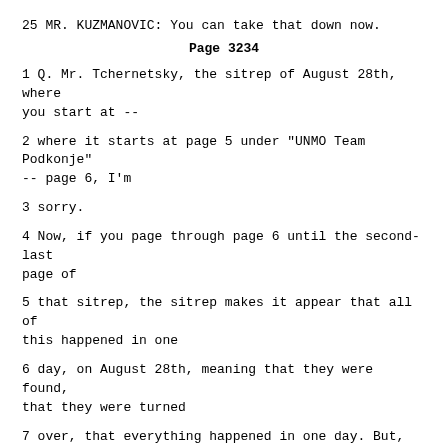25 MR. KUZMANOVIC: You can take that down now.
Page 3234
1 Q. Mr. Tchernetsky, the sitrep of August 28th, where you start at --
2 where it starts at page 5 under "UNMO Team Podkonje" -- page 6, I'm
3 sorry.
4 Now, if you page through page 6 until the second-last page of
5 that sitrep, the sitrep makes it appear that all of this happened in one
6 day, on August 28th, meaning that they were found, that they were turned
7 over, that everything happened in one day. But, in fact, it happened
8 over the course of four days, did it not?
9 A. Yes.
10 Q. Mr. Tchernetsky, do you find the fact that reporting this